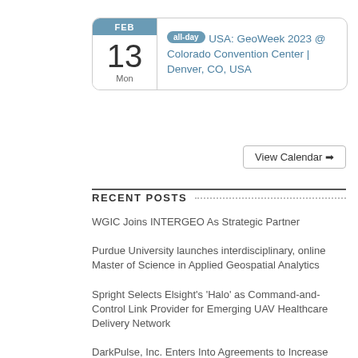[Figure (other): Calendar widget showing FEB 13 Mon with all-day event: USA: GeoWeek 2023 @ Colorado Convention Center | Denver, CO, USA]
View Calendar →
RECENT POSTS
WGIC Joins INTERGEO As Strategic Partner
Purdue University launches interdisciplinary, online Master of Science in Applied Geospatial Analytics
Spright Selects Elsight's 'Halo' as Command-and-Control Link Provider for Emerging UAV Healthcare Delivery Network
DarkPulse, Inc. Enters Into Agreements to Increase Equity Stake to 100% of Drone Based A.I. Companies, Remote Intelligence…